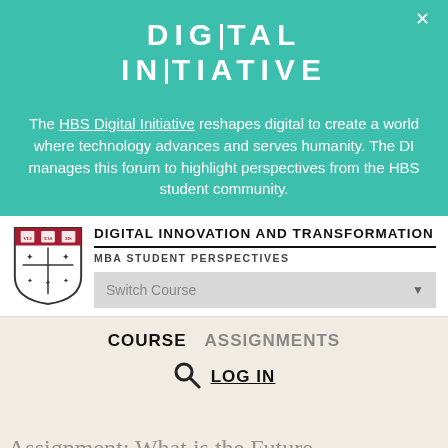[Figure (logo): Digital Initiative logo text in white on teal background with vertical bar separators]
The HBS Digital Initiative reshapes digital to create a world where technology advances and serves humanity. The DI manages this forum to highlight perspectives from the HBS student community.
[Figure (logo): Harvard Business School shield logo in black and white/crimson]
DIGITAL INNOVATION AND TRANSFORMATION
MBA STUDENT PERSPECTIVES
Switch Course
COURSE   ASSIGNMENTS
LOG IN
Assignment: What is the Future...